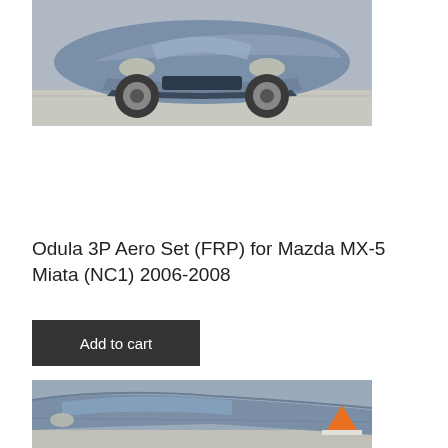[Figure (photo): Front view of a gray Mazda MX-5 Miata (NC1) with Odula 3P Aero body kit, parked on a driveway]
Odula 3P Aero Set (FRP) for Mazda MX-5 Miata (NC1) 2006-2008
Add to cart
[Figure (photo): Partial rear/side view of a gray Mazda MX-5 Miata (NC1) with orange traffic cone visible in background]